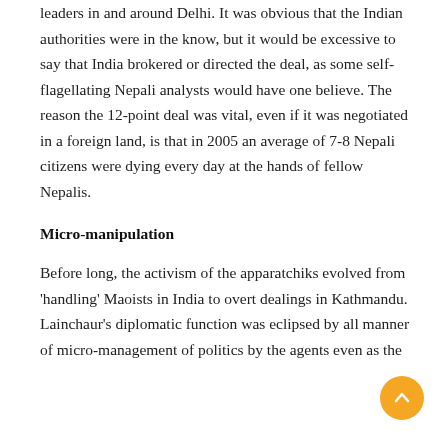leaders in and around Delhi. It was obvious that the Indian authorities were in the know, but it would be excessive to say that India brokered or directed the deal, as some self-flagellating Nepali analysts would have one believe. The reason the 12-point deal was vital, even if it was negotiated in a foreign land, is that in 2005 an average of 7-8 Nepali citizens were dying every day at the hands of fellow Nepalis.
Micro-manipulation
Before long, the activism of the apparatchiks evolved from 'handling' Maoists in India to overt dealings in Kathmandu. Lainchaur's diplomatic function was eclipsed by all manner of micro-management of politics by the agents even as the